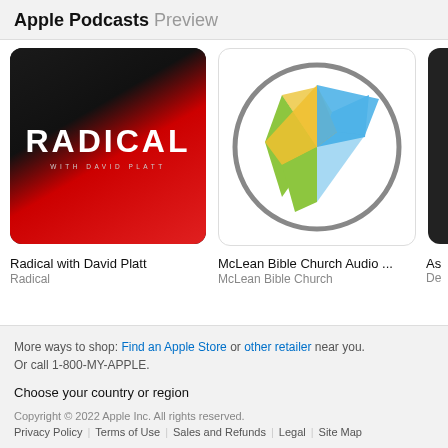Apple Podcasts Preview
[Figure (photo): Podcast thumbnail for Radical with David Platt - dark background with red gradient and white RADICAL text]
Radical with David Platt
Radical
[Figure (logo): McLean Bible Church Audio podcast thumbnail - white circle with colorful compass/cross logo in orange, blue, green, yellow]
McLean Bible Church Audio ...
McLean Bible Church
[Figure (photo): Partially visible third podcast thumbnail - dark background]
As...
De...
More ways to shop: Find an Apple Store or other retailer near you.
Or call 1-800-MY-APPLE.
Choose your country or region
Copyright © 2022 Apple Inc. All rights reserved.
Privacy Policy | Terms of Use | Sales and Refunds | Legal | Site Map